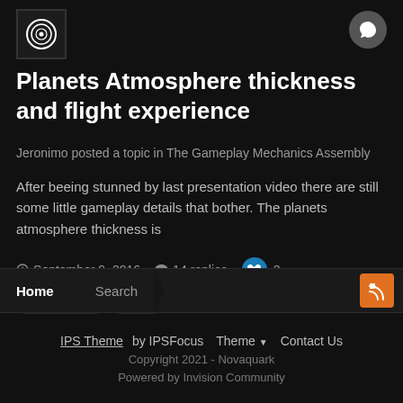[Figure (logo): Circular spiral logo in white on dark background]
Planets Atmosphere thickness and flight experience
Jeronimo posted a topic in The Gameplay Mechanics Assembly
After beeing stunned by last presentation video there are still some little gameplay details that bother. The planets atmosphere thickness is
September 9, 2016   14 replies   2
Atmosphere
flight
(and 2 more)
Home  Search
IPS Theme by IPSFocus  Theme  Contact Us
Copyright 2021 - Novaquark
Powered by Invision Community